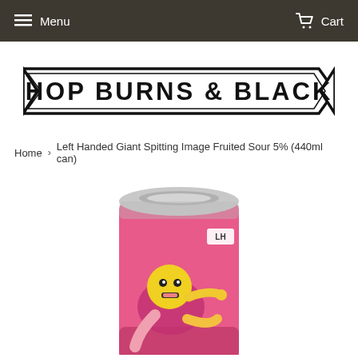Menu   Cart
[Figure (logo): Hop Burns & Black logo — black banner ribbon shape with text HOP BURNS & BLACK in bold caps]
Home  ›  Left Handed Giant Spitting Image Fruited Sour 5% (440ml can)
[Figure (photo): Product photo of a pink 440ml can of Left Handed Giant Spitting Image Fruited Sour beer. The can has a cartoon yellow smiley-faced character on a pink/magenta background with colorful stylized art. The top of the can is silver/metallic. The LHG logo appears in a white box on the upper right of the can.]